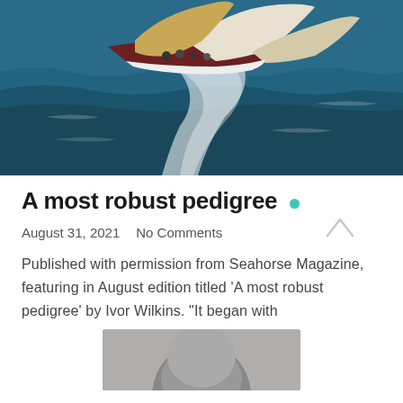[Figure (photo): Aerial/top-down photo of a sailing yacht racing on open water with white and tan/golden sails, dark blue-green ocean, crew visible on deck, white wake trailing behind.]
A most robust pedigree
August 31, 2021   No Comments
Published with permission from Seahorse Magazine, featuring in August edition titled 'A most robust pedigree' by Ivor Wilkins. "It began with
[Figure (photo): Black and white portrait photo of a person, showing the top/upper portion of their head.]